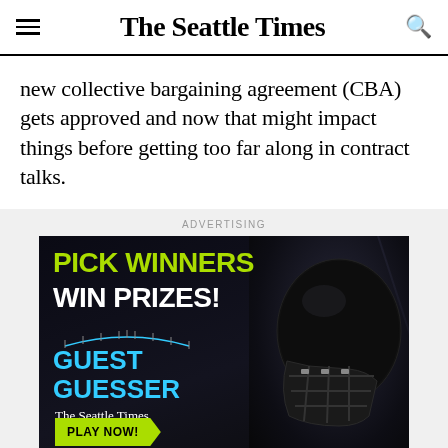The Seattle Times
new collective bargaining agreement (CBA) gets approved and now that might impact things before getting too far along in contract talks.
ADVERTISING
[Figure (infographic): Advertisement for The Seattle Times Guest Guesser. Dark background with a football player wearing a helmet on the right. Text reads 'PICK WINNERS WIN PRIZES! GUEST GUESSER The Seattle Times PLAY NOW!']